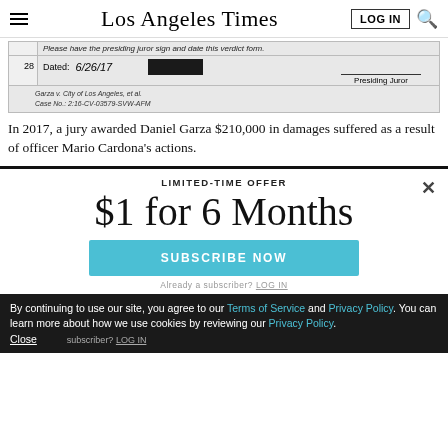Los Angeles Times
[Figure (screenshot): Scanned legal document showing verdict form page 28. Text reads: 'Please have the presiding juror sign and date this verdict form.' Dated: 6/26/17, with a redacted presiding juror signature. Case footer: Garza v. City of Los Angeles, et al., Case No.: 2:16-CV-03579-SVW-AFM]
In 2017, a jury awarded Daniel Garza $210,000 in damages suffered as a result of officer Mario Cardona's actions.
LIMITED-TIME OFFER
$1 for 6 Months
SUBSCRIBE NOW
Already a subscriber? LOG IN
By continuing to use our site, you agree to our Terms of Service and Privacy Policy. You can learn more about how we use cookies by reviewing our Privacy Policy. Close